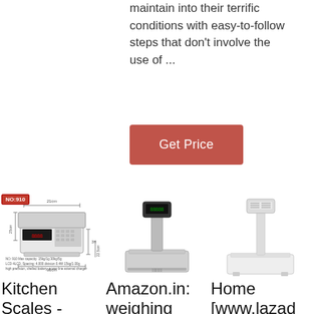maintain into their terrific conditions with easy-to-follow steps that don't involve the use of ...
Get Price
[Figure (photo): Kitchen scale with dimension labels and NO:910 badge, showing specs below]
[Figure (photo): Commercial weighing scale with pole-mounted display]
[Figure (photo): Home platform scale with tall pole and display unit]
Kitchen Scales -
Amazon.in: weighing
Home [www.lazad